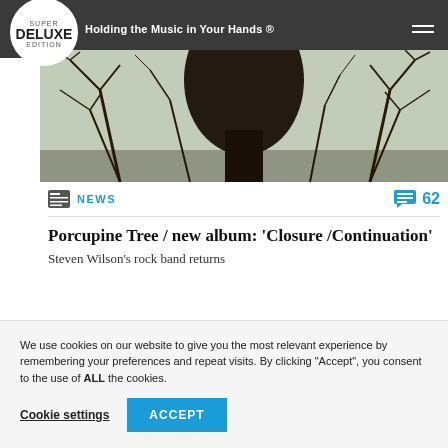Super Deluxe Edition — Holding the Music in Your Hands ®
[Figure (photo): Dark silhouette of a person surrounded by bare winter trees against a pale sky, moody atmospheric photo]
NEWS
Porcupine Tree / new album: 'Closure/Continuation'
Steven Wilson's rock band returns
We use cookies on our website to give you the most relevant experience by remembering your preferences and repeat visits. By clicking "Accept", you consent to the use of ALL the cookies.